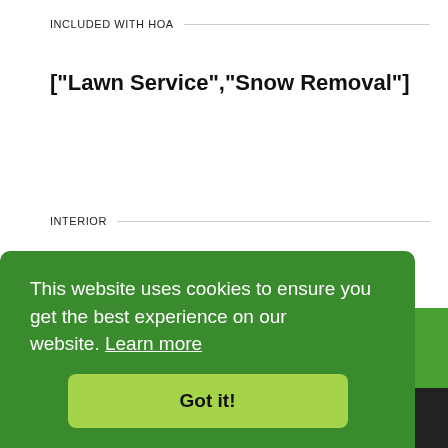INCLUDED WITH HOA
["Lawn Service","Snow Removal"]
INTERIOR
Heating
["Natural Gas"]
Cooling
["Electric"]
This website uses cookies to ensure you get the best experience on our website. Learn more
Got it!